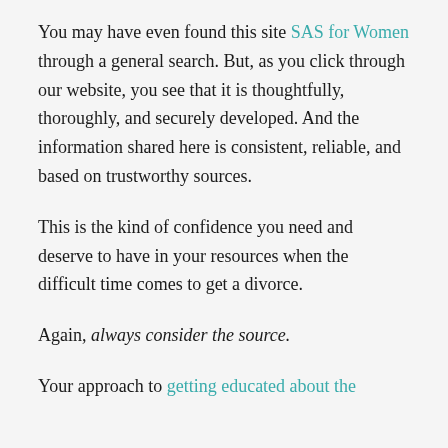You may have even found this site SAS for Women through a general search. But, as you click through our website, you see that it is thoughtfully, thoroughly, and securely developed. And the information shared here is consistent, reliable, and based on trustworthy sources.
This is the kind of confidence you need and deserve to have in your resources when the difficult time comes to get a divorce.
Again, always consider the source.
Your approach to getting educated about the